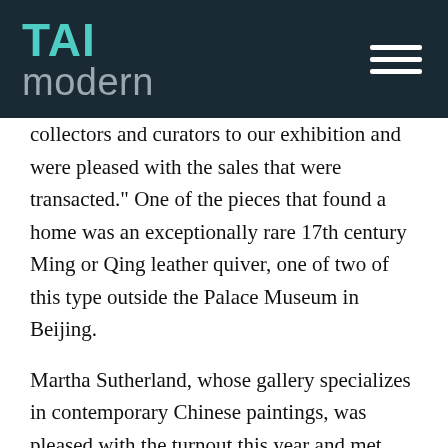TAI modern
collectors and curators to our exhibition and were pleased with the sales that were transacted." One of the pieces that found a home was an exceptionally rare 17th century Ming or Qing leather quiver, one of two of this type outside the Palace Museum in Beijing.
Martha Sutherland, whose gallery specializes in contemporary Chinese paintings, was pleased with the turnout this year and met many new people who came into her gallery.
Asia Week New York is always a draw for international museum curators on the lookout for treasures, and this year was no different. They came from the Asian Art